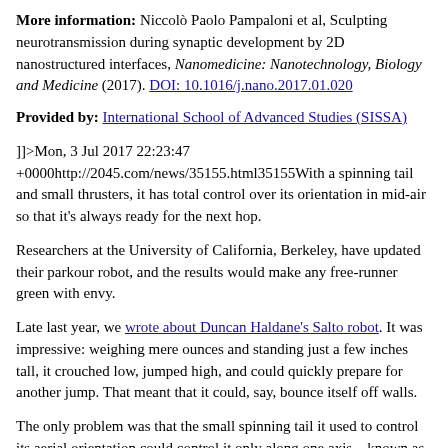More information: Niccolò Paolo Pampaloni et al, Sculpting neurotransmission during synaptic development by 2D nanostructured interfaces, Nanomedicine: Nanotechnology, Biology and Medicine (2017). DOI: 10.1016/j.nano.2017.01.020
Provided by: International School of Advanced Studies (SISSA)
]]>Mon, 3 Jul 2017 22:23:47 +0000http://2045.com/news/35155.html35155With a spinning tail and small thrusters, it has total control over its orientation in mid-air so that it's always ready for the next hop.
Researchers at the University of California, Berkeley, have updated their parkour robot, and the results would make any free-runner green with envy.
Late last year, we wrote about Duncan Haldane's Salto robot. It was impressive: weighing mere ounces and standing just a few inches tall, it crouched low, jumped high, and could quickly prepare for another jump. That meant that it could, say, bounce itself off walls.
The only problem was that the small spinning tail it used to control its aerial orientation could control it only along one axis—known as pitch, as on an airplane. That meant it could only jump forward and backward, and then only for few hops at a time, because if it